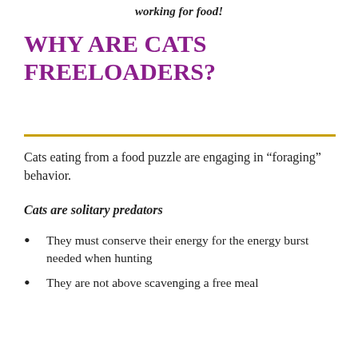working for food!
WHY ARE CATS FREELOADERS?
Cats eating from a food puzzle are engaging in “foraging” behavior.
Cats are solitary predators
They must conserve their energy for the energy burst needed when hunting
They are not above scavenging a free meal